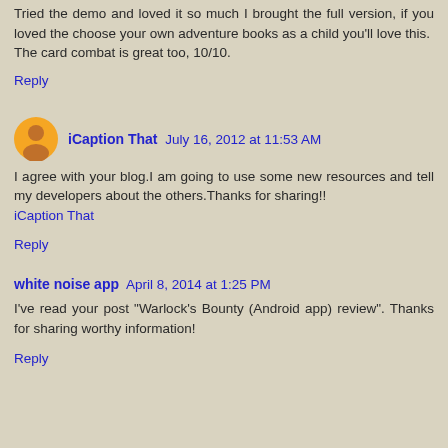Tried the demo and loved it so much I brought the full version, if you loved the choose your own adventure books as a child you'll love this.
The card combat is great too, 10/10.
Reply
iCaption That July 16, 2012 at 11:53 AM
I agree with your blog.I am going to use some new resources and tell my developers about the others.Thanks for sharing!!
iCaption That
Reply
white noise app April 8, 2014 at 1:25 PM
I've read your post "Warlock's Bounty (Android app) review". Thanks for sharing worthy information!
Reply